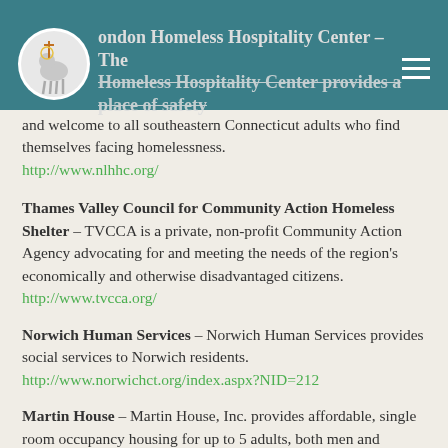London Homeless Hospitality Center – The Homeless Hospitality Center provides a place of safety and welcome to all southeastern Connecticut adults who find themselves facing homelessness. http://www.nlhhc.org/
Thames Valley Council for Community Action Homeless Shelter – TVCCA is a private, non-profit Community Action Agency advocating for and meeting the needs of the region's economically and otherwise disadvantaged citizens. http://www.tvcca.org/
Norwich Human Services – Norwich Human Services provides social services to Norwich residents. http://www.norwichct.org/index.aspx?NID=212
Martin House – Martin House, Inc. provides affordable, single room occupancy housing for up to 5 adults, both men and women, 18 years and older who have